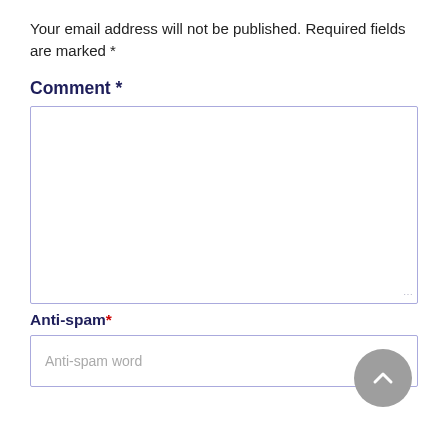Your email address will not be published. Required fields are marked *
Comment *
[Figure (screenshot): Empty comment textarea input box with light purple border]
Anti-spam*
[Figure (screenshot): Anti-spam word input field with placeholder text and scroll-to-top button]